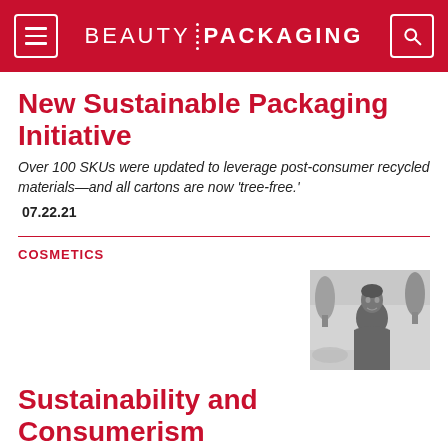BEAUTY PACKAGING
New Sustainable Packaging Initiative
Over 100 SKUs were updated to leverage post-consumer recycled materials—and all cartons are now 'tree-free.'
07.22.21
COSMETICS
[Figure (photo): Black and white photo of a young man outdoors with trees in background]
Sustainability and Consumerism